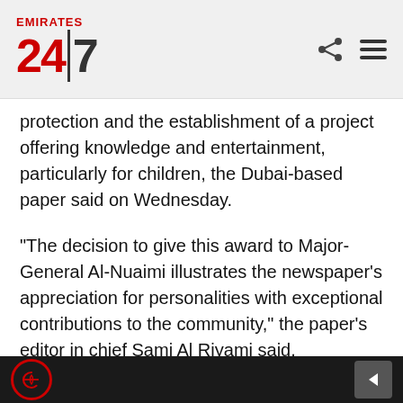EMIRATES 24|7
protection and the establishment of a project offering knowledge and entertainment, particularly for children, the Dubai-based paper said on Wednesday.
“The decision to give this award to Major-General Al-Nuaimi illustrates the newspaper’s appreciation for personalities with exceptional contributions to the community,” the paper’s editor in chief Sami Al Riyami said.
“This person has founded a great national enterprise and spent on it from his own purse to turn it into a